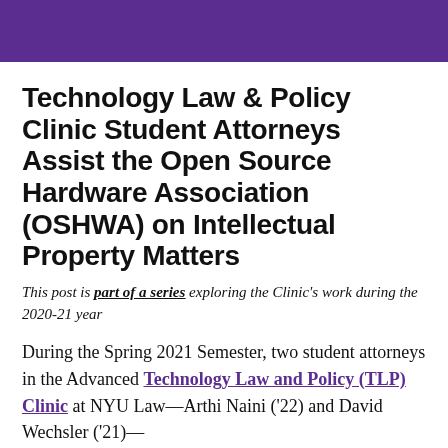[Figure (other): Purple decorative header bar at top of page]
Technology Law & Policy Clinic Student Attorneys Assist the Open Source Hardware Association (OSHWA) on Intellectual Property Matters
This post is part of a series exploring the Clinic's work during the 2020-21 year
During the Spring 2021 Semester, two student attorneys in the Advanced Technology Law and Policy (TLP) Clinic at NYU Law—Arthi Naini ('22) and David Wechsler ('21)—